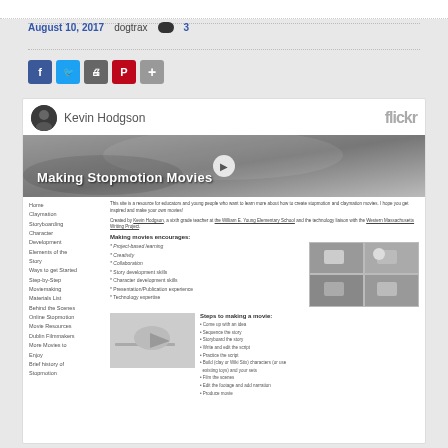August 10, 2017   dogtrax   3
[Figure (screenshot): Share buttons: Facebook, Twitter, Print, Pinterest, Plus]
[Figure (screenshot): Embedded Flickr page showing Kevin Hodgson's Making Stopmotion Movies resource with navigation links, content about making movies encourages project-based learning, creativity, collaboration, story development skills, character development skills, presentation/publication experience, technology expertise, and steps to making a movie.]